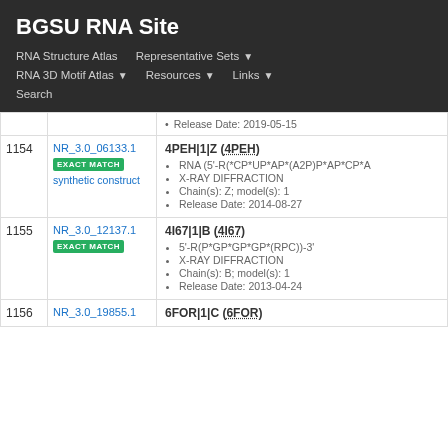BGSU RNA Site — navigation: RNA Structure Atlas, Representative Sets, RNA 3D Motif Atlas, Resources, Links, Search
Release Date: 2019-05-15
| # | Set ID | Details |
| --- | --- | --- |
| 1154 | NR_3.0_06133.1 [EXACT MATCH] synthetic construct | 4PEH|1|Z (4PEH)
• RNA (5'-R(*CP*UP*AP*(A2P)P*AP*CP*A...
• X-RAY DIFFRACTION
• Chain(s): Z; model(s): 1
• Release Date: 2014-08-27 |
| 1155 | NR_3.0_12137.1 [EXACT MATCH] | 4I67|1|B (4I67)
• 5'-R(P*GP*GP*GP*(RPC))-3'
• X-RAY DIFFRACTION
• Chain(s): B; model(s): 1
• Release Date: 2013-04-24 |
| 1156 | NR_3.0_19855.1 | 6FOR|1|C (6FOR) |